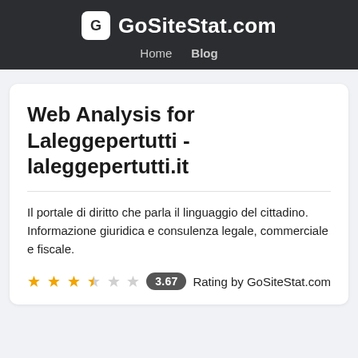GoSiteStat.com — Home  Blog
Web Analysis for Laleggepertutti - laleggepertutti.it
Il portale di diritto che parla il linguaggio del cittadino. Informazione giuridica e consulenza legale, commerciale e fiscale.
3.67  Rating by GoSiteStat.com